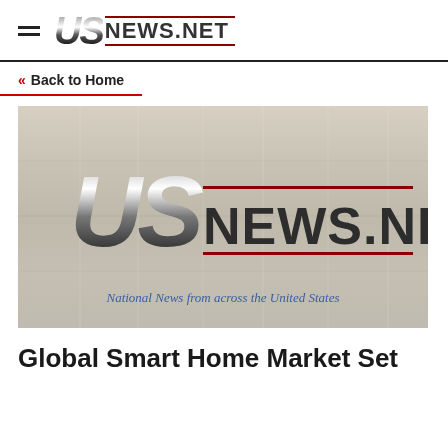USNews.net
« Back to Home
[Figure (logo): USNews.net logo on wood plank background with tagline 'National News from across the United States']
Global Smart Home Market Set